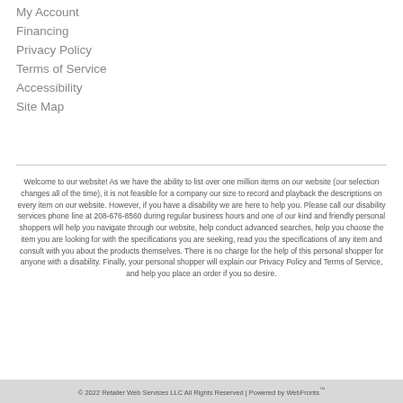My Account
Financing
Privacy Policy
Terms of Service
Accessibility
Site Map
Welcome to our website! As we have the ability to list over one million items on our website (our selection changes all of the time), it is not feasible for a company our size to record and playback the descriptions on every item on our website. However, if you have a disability we are here to help you. Please call our disability services phone line at 208-676-8560 during regular business hours and one of our kind and friendly personal shoppers will help you navigate through our website, help conduct advanced searches, help you choose the item you are looking for with the specifications you are seeking, read you the specifications of any item and consult with you about the products themselves. There is no charge for the help of this personal shopper for anyone with a disability. Finally, your personal shopper will explain our Privacy Policy and Terms of Service, and help you place an order if you so desire.
© 2022 Retailer Web Services LLC All Rights Reserved | Powered by WebFronts™